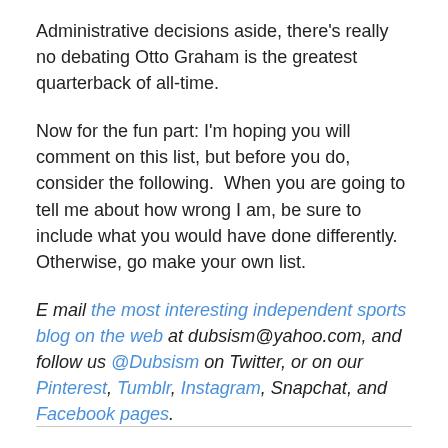Administrative decisions aside, there's really no debating Otto Graham is the greatest quarterback of all-time.
Now for the fun part: I'm hoping you will comment on this list, but before you do, consider the following.  When you are going to tell me about how wrong I am, be sure to include what you would have done differently. Otherwise, go make your own list.
E mail the most interesting independent sports blog on the web at dubsism@yahoo.com, and follow us @Dubsism on Twitter, or on our Pinterest, Tumblr, Instagram, Snapchat, and Facebook pages.